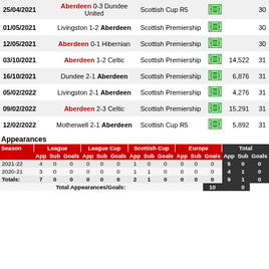| Date | Match | Competition |  | Attendance |  |
| --- | --- | --- | --- | --- | --- |
| 25/04/2021 | Aberdeen 0-3 Dundee United | Scottish Cup R5 |  | 30 |  |
| 01/05/2021 | Livingston 1-2 Aberdeen | Scottish Premiership |  | 30 |  |
| 12/05/2021 | Aberdeen 0-1 Hibernian | Scottish Premiership |  | 30 |  |
| 03/10/2021 | Aberdeen 1-2 Celtic | Scottish Premiership |  | 14,522 | 31 |
| 16/10/2021 | Dundee 2-1 Aberdeen | Scottish Premiership |  | 6,876 | 31 |
| 05/02/2022 | Livingston 2-1 Aberdeen | Scottish Premiership |  | 4,276 | 31 |
| 09/02/2022 | Aberdeen 2-3 Celtic | Scottish Premiership |  | 15,291 | 31 |
| 12/02/2022 | Motherwell 2-1 Aberdeen | Scottish Cup R5 |  | 5,892 | 31 |
Appearances
| Season | League App | League Sub | League Goals | League Cup App | League Cup Sub | League Cup Goals | Scottish Cup App | Scottish Cup Sub | Scottish Cup Goals | Europe App | Europe Sub | Europe Goals | Total App | Total Sub | Total Goals |
| --- | --- | --- | --- | --- | --- | --- | --- | --- | --- | --- | --- | --- | --- | --- | --- |
| 2021-22 | 4 | 0 | 0 | 0 | 0 | 0 | 1 | 0 | 0 | 0 | 0 | 0 | 5 | 0 | 0 |
| 2020-21 | 3 | 0 | 0 | 0 | 0 | 0 | 1 | 1 | 0 | 0 | 0 | 0 | 4 | 1 | 0 |
| Totals: | 7 | 0 | 0 | 0 | 0 | 0 | 2 | 1 | 0 | 0 | 0 | 0 | 9 | 1 | 0 |
Total Appearances/Goals: 10 0